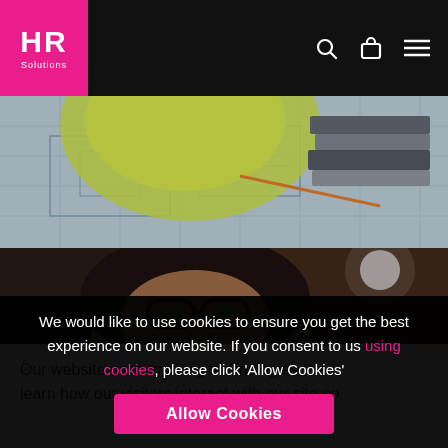HR Solutions navigation bar with logo, search, bag, and menu icons
[Figure (photo): Top hero image showing a hard hat, blueprints/technical drawings, and books on a desk, viewed from above]
[Figure (photo): Bottom hero image showing a woman with glasses looking upward, dark warm-toned background]
Our website uses tracking technologies to learn how our visitors interact with our site so
We would like to use cookies to ensure you get the best experience on our website. If you consent to us using cookies, please click 'Allow Cookies'
Allow Cookies